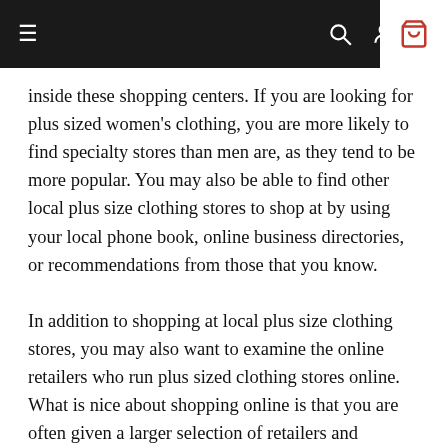Navigation bar with menu, search, user, and cart icons
inside these shopping centers. If you are looking for plus sized women's clothing, you are more likely to find specialty stores than men are, as they tend to be more popular. You may also be able to find other local plus size clothing stores to shop at by using your local phone book, online business directories, or recommendations from those that you know.
In addition to shopping at local plus size clothing stores, you may also want to examine the online retailers who run plus sized clothing stores online. What is nice about shopping online is that you are often given a larger selection of retailers and products to choose from. This means more clothing choices and clothing accessories for you. It is also important to mention that shopping online also...